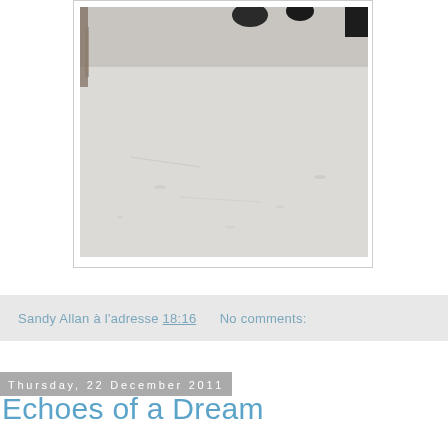[Figure (photo): Outdoor winter scene with snow on the ground, partially cropped. Dark objects visible at top (possibly wheels/legs of something). Snow-covered ground dominates the image.]
Sandy Allan à l'adresse 18:16      No comments:
Thursday, 22 December 2011
Echoes of a Dream